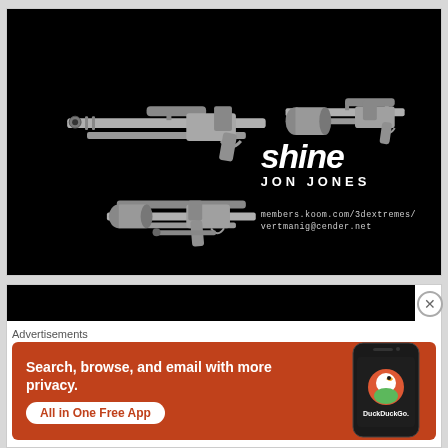[Figure (illustration): 3D rendered sci-fi blaster/gun models on a black background with 'shine JON JONES' logo text and website URLs: members.koom.com/3dextremes/ and vertmanig@cender.net]
[Figure (screenshot): Black advertisement bar at the top of a second panel with an X close button]
Advertisements
[Figure (illustration): DuckDuckGo advertisement banner with orange background. Text: 'Search, browse, and email with more privacy. All in One Free App' with a phone mockup showing DuckDuckGo app.]